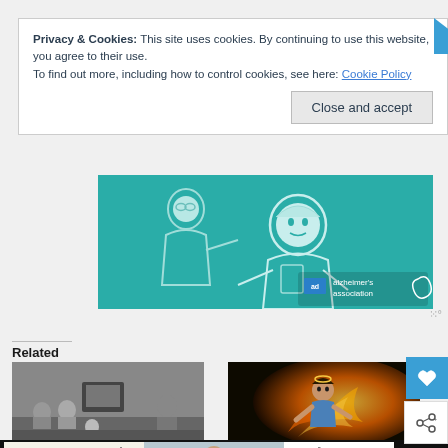Privacy & Cookies: This site uses cookies. By continuing to use this website, you agree to their use.
To find out more, including how to control cookies, see here: Cookie Policy
Close and accept
[Figure (illustration): Alzheimer's Association advertisement banner with teal background and illustrated figures of people]
Related
[Figure (photo): Black and white photo of family watching television]
[Figure (illustration): Colorful illustration of animated character with fire]
[Figure (illustration): Bottom advertisement banner for Operation Gratitude with thank you text and medical workers photo]